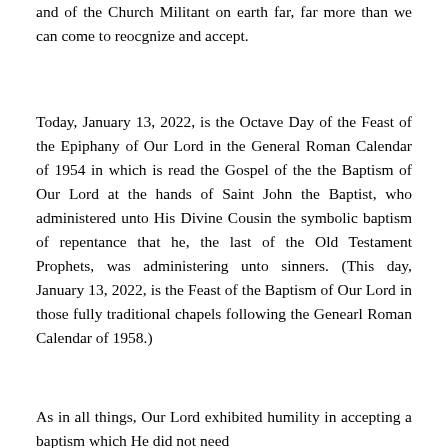and of the Church Militant on earth far, far more than we can come to reocgnize and accept.
Today, January 13, 2022, is the Octave Day of the Feast of the Epiphany of Our Lord in the General Roman Calendar of 1954 in which is read the Gospel of the the Baptism of Our Lord at the hands of Saint John the Baptist, who administered unto His Divine Cousin the symbolic baptism of repentance that he, the last of the Old Testament Prophets, was administering unto sinners. (This day, January 13, 2022, is the Feast of the Baptism of Our Lord in those fully traditional chapels following the Genearl Roman Calendar of 1958.)
As in all things, Our Lord exhibited humility in accepting a baptism which He did not need